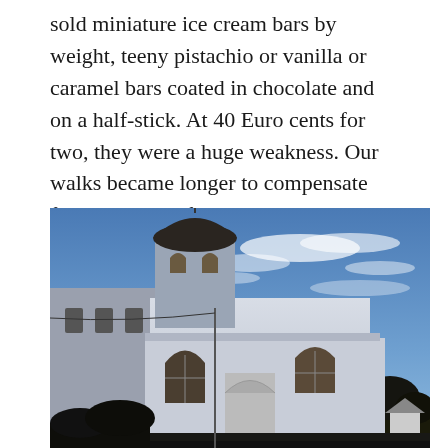sold miniature ice cream bars by weight, teeny pistachio or vanilla or caramel bars coated in chocolate and on a half-stick. At 40 Euro cents for two, they were a huge weakness. Our walks became longer to compensate for all this rich food.
[Figure (photo): Photograph of a white church building with a dark dome topped by a cross, arched windows, photographed from a low angle against a bright blue sky with wispy clouds and dark trees in the background.]